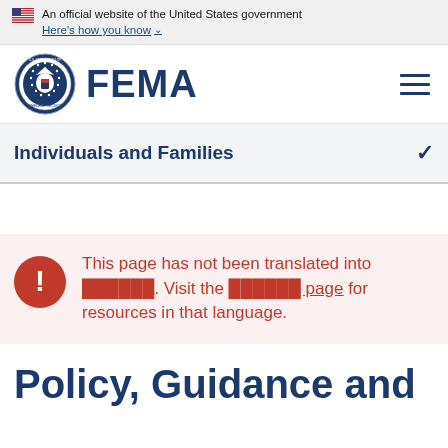An official website of the United States government
Here's how you know ∨
[Figure (logo): FEMA logo with Department of Homeland Security seal and FEMA wordmark]
Individuals and Families
This page has not been translated into ██████. Visit the ██████ page for resources in that language.
Policy, Guidance and